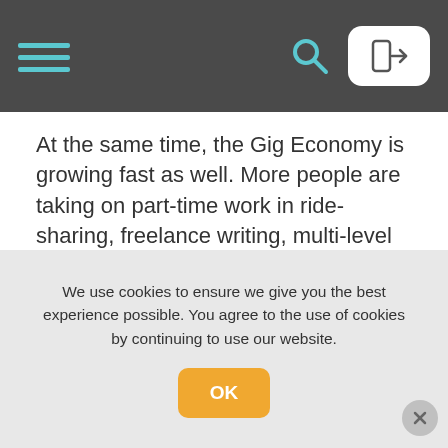Navigation bar with hamburger menu, search icon, and login button
At the same time, the Gig Economy is growing fast as well. More people are taking on part-time work in ride-sharing, freelance writing, multi-level marketing sales, and other temporary gigs.
So let’s get into the most effective tactics other parents are already using to introduce their kids to technology and what it means to work. These methods are likely to spark excitement and curiosity from your little one.
We use cookies to ensure we give you the best experience possible. You agree to the use of cookies by continuing to use our website.